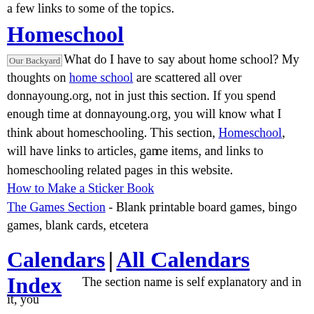a few links to some of the topics.
Homeschool
Our BackyardWhat do I have to say about home school? My thoughts on home school are scattered all over donnayoung.org, not in just this section. If you spend enough time at donnayoung.org, you will know what I think about homeschooling. This section, Homeschool, will have links to articles, game items, and links to homeschooling related pages in this website.
How to Make a Sticker Book
The Games Section - Blank printable board games, bingo games, blank cards, etcetera
Calendars | All Calendars Index
The section name is self explanatory and in it, you